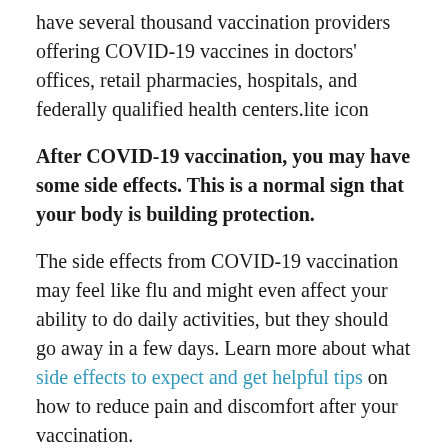have several thousand vaccination providers offering COVID-19 vaccines in doctors' offices, retail pharmacies, hospitals, and federally qualified health centers.lite icon
After COVID-19 vaccination, you may have some side effects. This is a normal sign that your body is building protection.
The side effects from COVID-19 vaccination may feel like flu and might even affect your ability to do daily activities, but they should go away in a few days. Learn more about what side effects to expect and get helpful tips on how to reduce pain and discomfort after your vaccination.